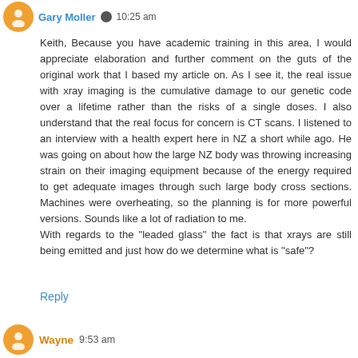Gary Moller · 10:25 am
Keith, Because you have academic training in this area, I would appreciate elaboration and further comment on the guts of the original work that I based my article on. As I see it, the real issue with xray imaging is the cumulative damage to our genetic code over a lifetime rather than the risks of a single doses. I also understand that the real focus for concern is CT scans. I listened to an interview with a health expert here in NZ a short while ago. He was going on about how the large NZ body was throwing increasing strain on their imaging equipment because of the energy required to get adequate images through such large body cross sections. Machines were overheating, so the planning is for more powerful versions. Sounds like a lot of radiation to me.
With regards to the "leaded glass" the fact is that xrays are still being emitted and just how do we determine what is "safe"?
Reply
Wayne 9:53 am